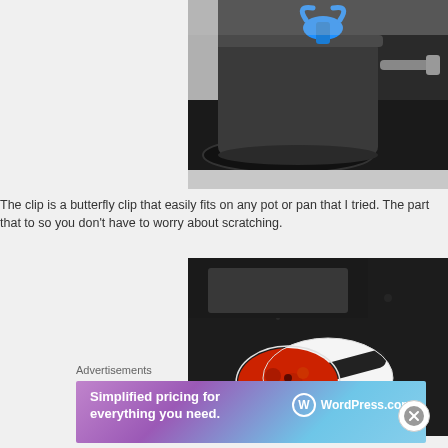[Figure (photo): A black pot on a stove with a blue butterfly clip attached to the rim]
The clip is a butterfly clip that easily fits on any pot or pan that I tried. The part that to so you don’t have to worry about scratching.
[Figure (photo): A ladle or spoon with tomato sauce resting on a white spoon rest on a dark granite countertop near a stove]
Advertisements
[Figure (screenshot): WordPress.com advertisement banner: Simplified pricing for everything you need.]